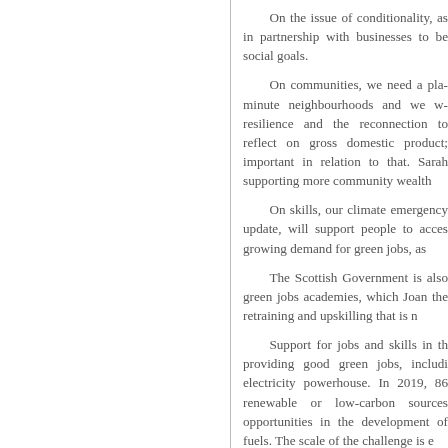On the issue of conditionality, as in partnership with businesses to be social goals.
On communities, we need a place minute neighbourhoods and we w resilience and the reconnection to reflect on gross domestic product; important in relation to that. Sarah supporting more community wealth
On skills, our climate emergency update, will support people to acces growing demand for green jobs, as
The Scottish Government is also green jobs academies, which Joan the retraining and upskilling that is n
Support for jobs and skills in th providing good green jobs, includi electricity powerhouse. In 2019, 86 renewable or low-carbon sources opportunities in the development of fuels. The scale of the challenge is e
Angus MacDonald was right to p